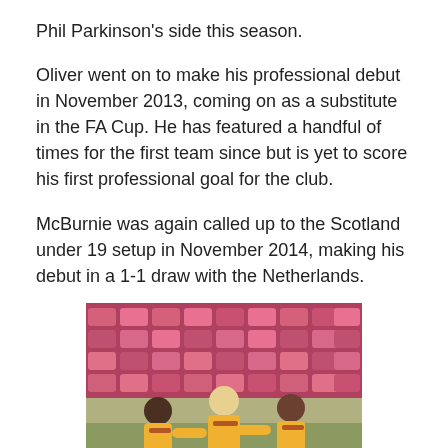Phil Parkinson's side this season.
Oliver went on to make his professional debut in November 2013, coming on as a substitute in the FA Cup. He has featured a handful of times for the first team since but is yet to score his first professional goal for the club.
McBurnie was again called up to the Scotland under 19 setup in November 2014, making his debut in a 1-1 draw with the Netherlands.
[Figure (photo): Three football players in yellow and red kit celebrating on a pitch, with red stadium seats visible in the background.]